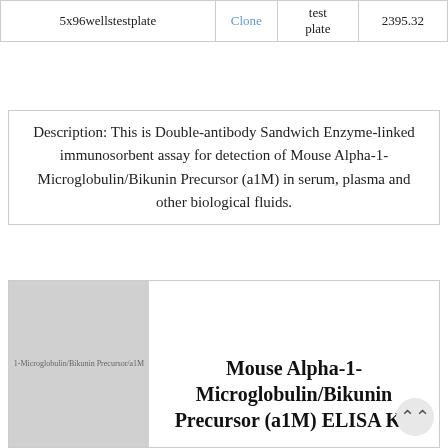|  | Clone | test plate | 2395.32 |
| --- | --- | --- | --- |
| 5x96wellstestplate | Clone | test plate | 2395.32 |
Description: This is Double-antibody Sandwich Enzyme-linked immunosorbent assay for detection of Mouse Alpha-1-Microglobulin/Bikunin Precursor (a1M) in serum, plasma and other biological fluids.
[Figure (photo): Product image placeholder for Mouse Alpha-1-Microglobulin/Bikunin Precursor a1M ELISA Kit]
Mouse Alpha-1-Microglobulin/Bikunin Precursor (a1M) ELISA Kit